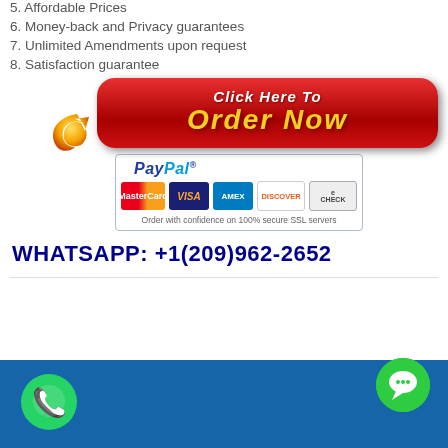5. Affordable Prices
6. Money-back and Privacy guarantees
7. Unlimited Amendments upon request
8. Satisfaction guarantee
[Figure (illustration): Red 'Click Here To ORDER NOW' button with orange arrow, PayPal payment icons (MasterCard, Visa, AMEX, Discover, eCheck), and SSL security text]
WHATSAPP: +1(209)962-2652
[Figure (illustration): Footer bar with WhatsApp icon bottom-left and green chat bubble icon bottom-right]